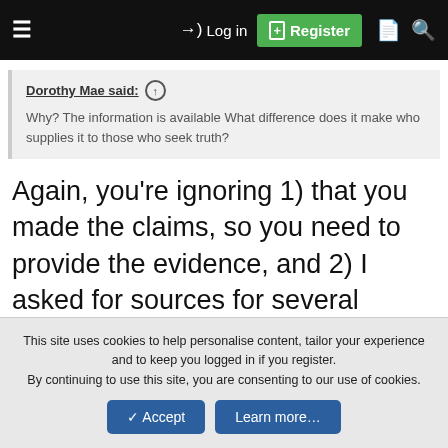≡  →) Log in  [+] Register  □  🔍
Dorothy Mae said: ↑
Why? The information is available What difference does it make who supplies it to those who seek truth?
Again, you're ignoring 1) that you made the claims, so you need to provide the evidence, and 2) I asked for sources for several different things.
Dorothy Mae said: ↑
This site uses cookies to help personalise content, tailor your experience and to keep you logged in if you register.
By continuing to use this site, you are consenting to our use of cookies.
✓ Accept    Learn more…